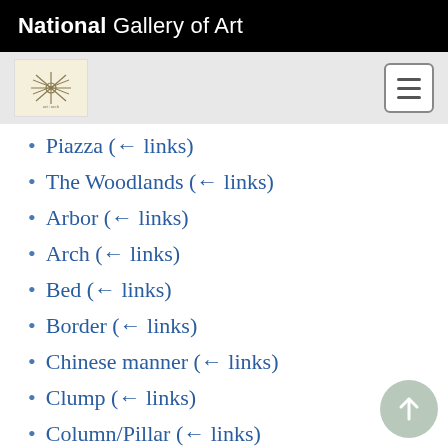National Gallery of Art
Piazza  (← links)
The Woodlands  (← links)
Arbor  (← links)
Arch  (← links)
Bed  (← links)
Border  (← links)
Chinese manner  (← links)
Clump  (← links)
Column/Pillar  (← links)
Conservatory  (← links)
Dutch style  (← links)